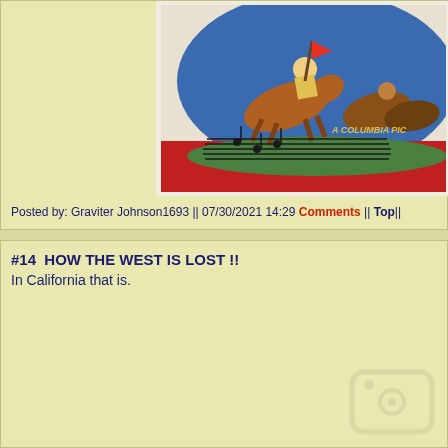[Figure (photo): Partial view of a colorful movie poster showing horseback riders in action, with text 'A COLUMBIA PIC' partially visible at the bottom right. Blue and red background with dynamic figures.]
Posted by: Graviter Johnson1693 || 07/30/2021 14:29 Comments || Top||
#14  HOW THE WEST IS LOST !!
In California that is.
[Figure (logo): Faint watermark/logo graphic in bottom right corner of lower section]